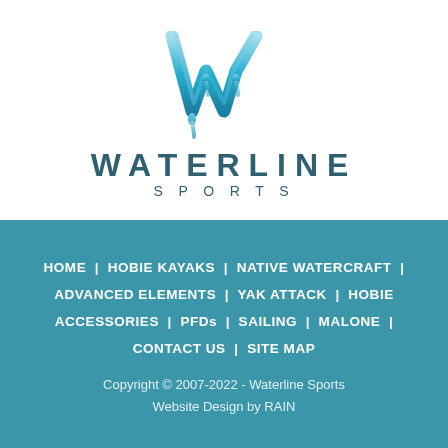[Figure (logo): Waterline Sports logo: blue gradient W lettermark above the text WATERLINE SPORTS]
WATERLINE SPORTS
HOME | HOBIE KAYAKS | NATIVE WATERCRAFT | ADVANCED ELEMENTS | YAK ATTACK | HOBIE ACCESSORIES | PFDs | SAILING | MALONE | CONTACT US | SITE MAP
Copyright © 2007-2022 - Waterline Sports
Website Design by RAIN